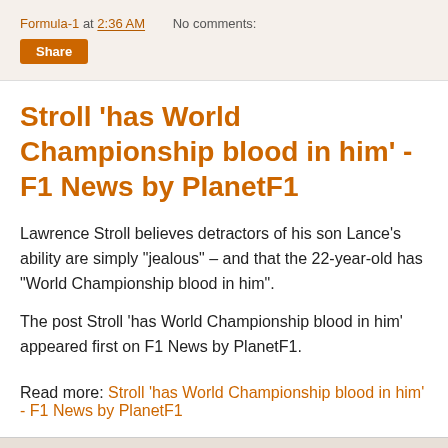Formula-1 at 2:36 AM   No comments:
Share
Stroll 'has World Championship blood in him' - F1 News by PlanetF1
Lawrence Stroll believes detractors of his son Lance's ability are simply "jealous" – and that the 22-year-old has "World Championship blood in him".
The post Stroll 'has World Championship blood in him' appeared first on F1 News by PlanetF1.
Read more: Stroll 'has World Championship blood in him' - F1 News by PlanetF1